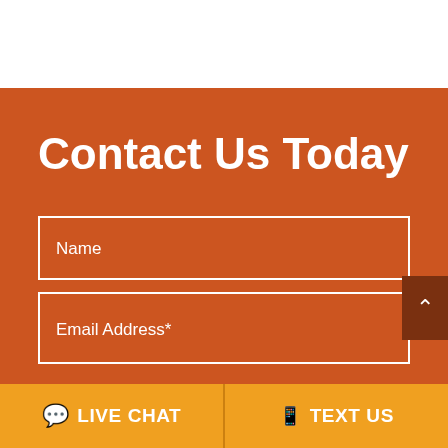Contact Us Today
Name
Email Address*
LIVE CHAT
TEXT US